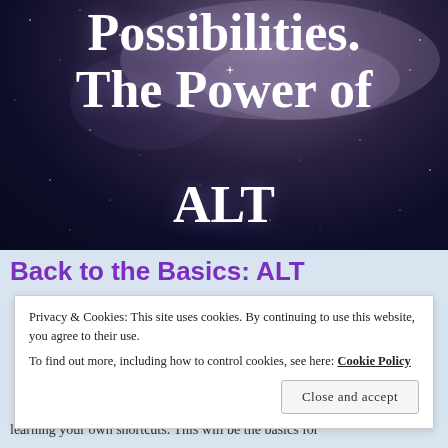[Figure (photo): Dark starry night sky background with purple/blue nebula hues, with large bold white serif text reading 'Possibilities. The Power of ALT']
Possibilities. The Power of ALT
Back to the Basics: ALT
Privacy & Cookies: This site uses cookies. By continuing to use this website, you agree to their use.
To find out more, including how to control cookies, see here: Cookie Policy
Close and accept
learning your own shortcuts. This will be the basics for